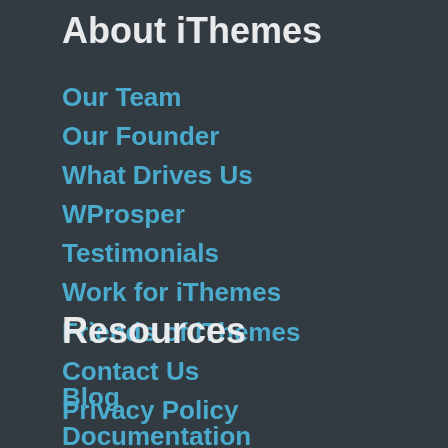About iThemes
Our Team
Our Founder
What Drives Us
WProsper
Testimonials
Work for iThemes
Friends of iThemes
Contact Us
Privacy Policy
Resources
Blog
Documentation
WordPress Tutorials